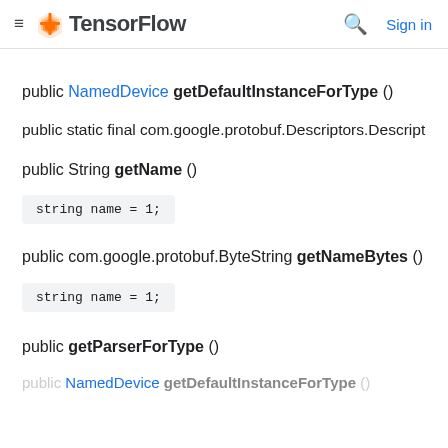TensorFlow — Sign in
public NamedDevice getDefaultInstanceForType ()
public static final com.google.protobuf.Descriptors.Descripto
public String getName ()
string name = 1;
public com.google.protobuf.ByteString getNameBytes ()
string name = 1;
public getParserForType ()
public NamedDevice getDefaultInstanceForType ()